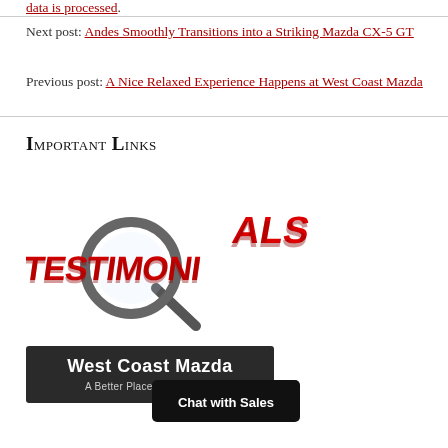data is processed.
Next post: Andes Smoothly Transitions into a Striking Mazda CX-5 GT
Previous post: A Nice Relaxed Experience Happens at West Coast Mazda
Important Links
[Figure (illustration): Testimonials graphic with red 3D letters and a magnifying glass]
[Figure (logo): West Coast Mazda - A Better Place to Buy a Car logo banner]
[Figure (other): Chat with Sales button]